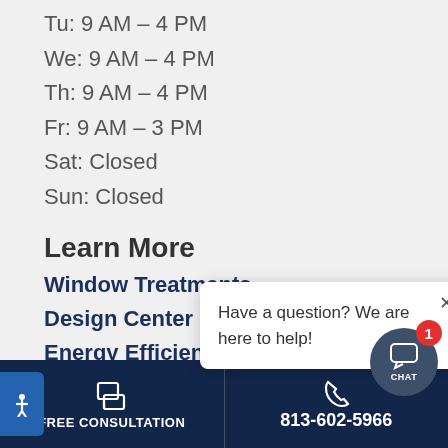Tu: 9 AM – 4 PM
We: 9 AM – 4 PM
Th: 9 AM – 4 PM
Fr: 9 AM – 3 PM
Sat: Closed
Sun: Closed
Learn More
Window Treatments
Design Center
Energy Efficiency
Designers & Builders
Blog
Have a question? We are here to help!
FREE CONSULTATION  813-602-5966